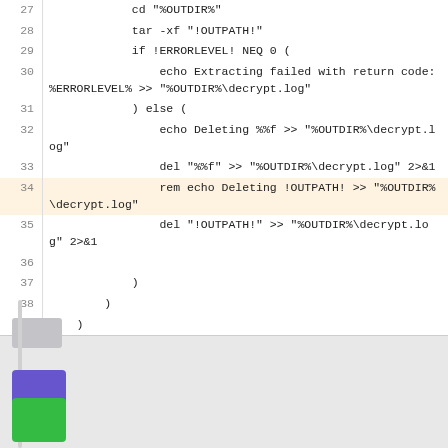[Figure (screenshot): Code editor showing lines 27-39 of a batch script with line numbers on the left. Line 34 is highlighted in light yellow/orange. The code shows cd, tar, if/else, echo, del, and rem commands dealing with OUTDIR, OUTPATH, ERRORLEVEL, and decrypt.log.]